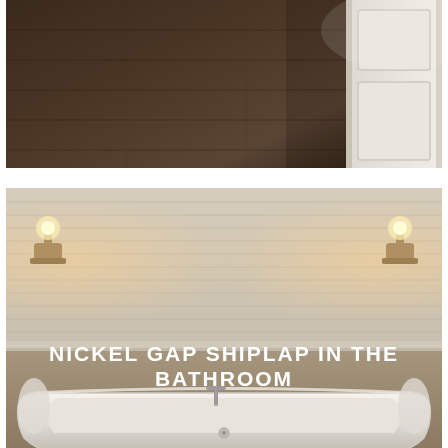[Figure (photo): Top photo showing dark hardwood flooring with a white door frame/paneled door visible on the right side, viewed from above at an angle.]
[Figure (photo): Bathroom photo with nickel gap shiplap wall in warm cream/white, two brass wall sconces providing warm light, and a white freestanding soaking bathtub in the foreground. Text overlay reads 'NICKEL GAP SHIPLAP IN THE BATHROOM' in white uppercase bold letters.]
NICKEL GAP SHIPLAP IN THE BATHROOM